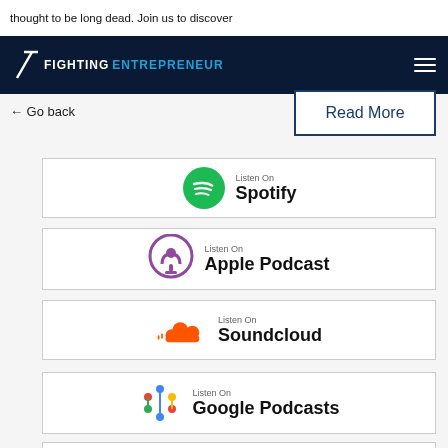thought to be long dead. Join us to discover
[Figure (logo): The Fighting Entrepreneur logo with navigation bar on dark navy background]
← Go back
Read More
[Figure (logo): Listen On Spotify button with Spotify green circle logo]
[Figure (logo): Listen On Apple Podcast button with purple Apple Podcasts logo]
[Figure (logo): Listen On Soundcloud button with orange Soundcloud logo]
[Figure (logo): Listen On Google Podcasts button with Google Podcasts colorful logo]